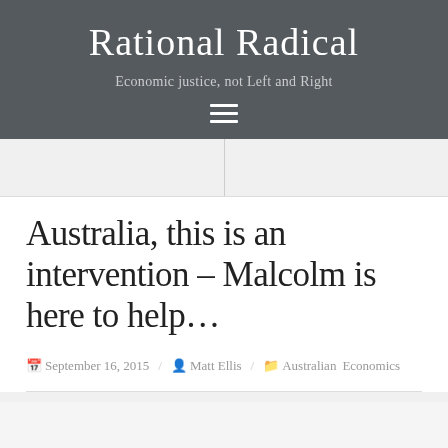Rational Radical
Economic justice, not Left and Right
Australia, this is an intervention – Malcolm is here to help…
September 16, 2015 / Matt Ellis / Australian Economics